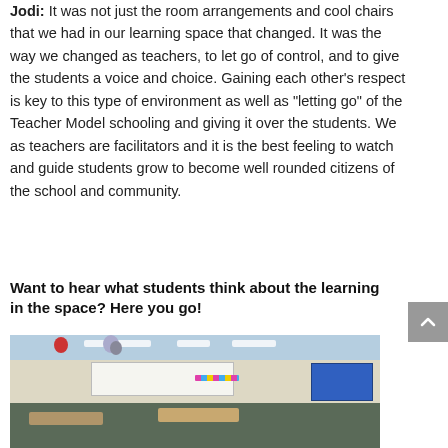Jodi: It was not just the room arrangements and cool chairs that we had in our learning space that changed. It was the way we changed as teachers, to let go of control, and to give the students a voice and choice. Gaining each other’s respect is key to this type of environment as well as “letting go” of the Teacher Model schooling and giving it over the students. We as teachers are facilitators and it is the best feeling to watch and guide students grow to become well rounded citizens of the school and community.
Want to hear what students think about the learning in the space? Here you go!
[Figure (photo): Classroom photo showing a modern learning space with colorful balloons hanging from the ceiling, a large whiteboard at the front, student desks, a blue projection screen on the right wall, colorful banner decorations, and various educational materials posted on the walls.]